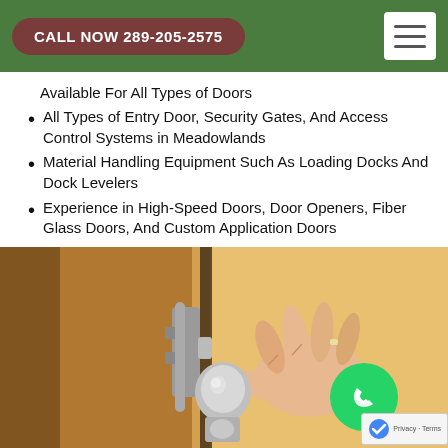CALL NOW 289-205-2575
Available For All Types of Doors
All Types of Entry Door, Security Gates, And Access Control Systems in Meadowlands
Material Handling Equipment Such As Loading Docks And Dock Levelers
Experience in High-Speed Doors, Door Openers, Fiber Glass Doors, And Custom Application Doors
[Figure (photo): A person's hand gripping a door knob/lever on a wooden door, close-up shot showing the locking mechanism]